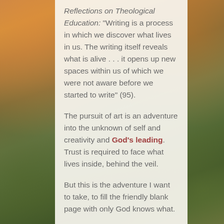Reflections on Theological Education: "Writing is a process in which we discover what lives in us. The writing itself reveals what is alive . . . it opens up new spaces within us of which we were not aware before we started to write" (95).
The pursuit of art is an adventure into the unknown of self and creativity and God's leading. Trust is required to face what lives inside, behind the veil.
But this is the adventure I want to take, to fill the friendly blank page with only God knows what.